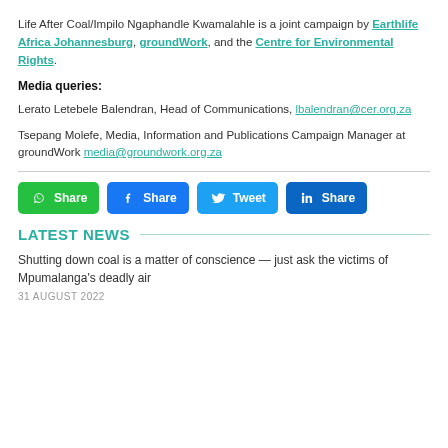Life After Coal/Impilo Ngaphandle Kwamalahle is a joint campaign by Earthlife Africa Johannesburg, groundWork, and the Centre for Environmental Rights.
Media queries:
Lerato Letebele Balendran, Head of Communications, lbalendran@cer.org.za
Tsepang Molefe, Media, Information and Publications Campaign Manager at groundWork media@groundwork.org.za
[Figure (other): Social share buttons: WhatsApp Share, Facebook Share, Twitter Tweet, LinkedIn Share]
LATEST NEWS
Shutting down coal is a matter of conscience — just ask the victims of Mpumalanga's deadly air
31 AUGUST 2022